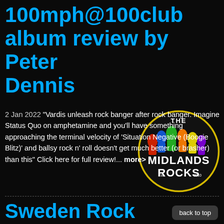100mph@100club album review by Peter Dennis
2 Jan 2022  "Vardis unleash rock banger after rock banger. Imagine Status Quo on amphetamine and you'll have something approaching the terminal velocity of 'Situation Negative (Boogie Blitz)' and ballsy rock n' roll doesn't get much better (or brasher) than this" Click here for full review!... more>
[Figure (logo): The Midlands Rocks circular logo with colorful silhouettes of musicians on a dark background]
Sweden Rock